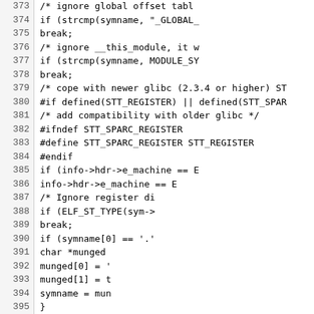[Figure (screenshot): Source code listing showing C code lines 373-403, with line numbers on the left and code on the right, truncated at the right edge. Contains C preprocessor directives and function calls.]